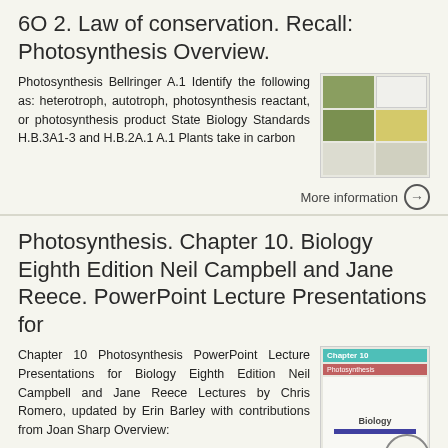6O 2. Law of conservation. Recall: Photosynthesis Overview.
Photosynthesis Bellringer A.1 Identify the following as: heterotroph, autotroph, photosynthesis reactant, or photosynthesis product State Biology Standards H.B.3A1-3 and H.B.2A.1 A.1 Plants take in carbon
[Figure (screenshot): Thumbnail grid of 6 slide previews arranged in 2 columns and 3 rows showing photosynthesis presentation slides]
More information →
Photosynthesis. Chapter 10. Biology Eighth Edition Neil Campbell and Jane Reece. PowerPoint Lecture Presentations for
Chapter 10 Photosynthesis PowerPoint Lecture Presentations for Biology Eighth Edition Neil Campbell and Jane Reece Lectures by Chris Romero, updated by Erin Barley with contributions from Joan Sharp Overview:
[Figure (screenshot): Thumbnail of Biology textbook Chapter 10 Photosynthesis PowerPoint slide with teal header, red subtitle, and Biology book cover with purple bar]